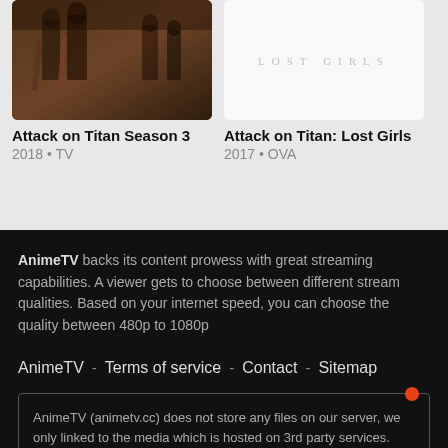[Figure (illustration): Anime characters from Attack on Titan Season 3 promotional image]
Attack on Titan Season 3
2018 • TV
[Figure (illustration): Attack on Titan: Lost Girls white/minimal cover image with LOST GIRLS text]
Attack on Titan: Lost Girls
2017 • OVA
AnimeTV backs its content prowess with great streaming capabilities. A viewer gets to choose between different stream qualities. Based on your internet speed, you can choose the quality between 480p to 1080p
AnimeTV   -   Terms of service   -   Contact   -   Sitemap
AnimeTV (animetv.cc) does not store any files on our server, we only linked to the media which is hosted on 3rd party services.
© AnimeTV.